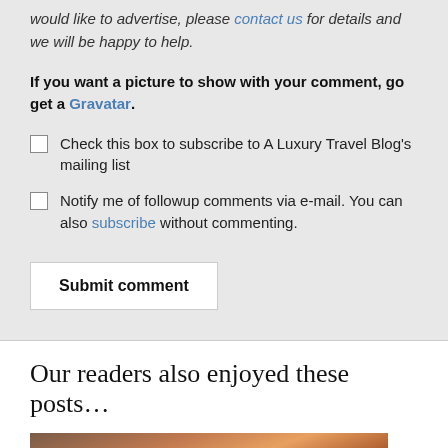would like to advertise, please contact us for details and we will be happy to help.
If you want a picture to show with your comment, go get a Gravatar.
Check this box to subscribe to A Luxury Travel Blog's mailing list
Notify me of followup comments via e-mail. You can also subscribe without commenting.
Submit comment
Our readers also enjoyed these posts…
[Figure (photo): Partial view of a reddish-brown landscape or sky photo, cropped at bottom of page]